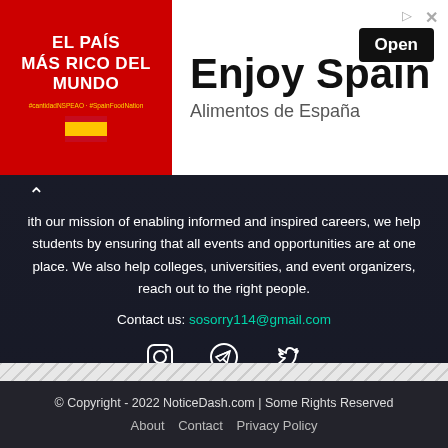[Figure (infographic): Advertisement banner for Enjoy Spain / Alimentos de España with red background and text on left, and 'Enjoy Spain' heading, 'Alimentos de España' subheading, and Open button on right]
With our mission of enabling informed and inspired careers, we help students by ensuring that all events and opportunities are at one place. We also help colleges, universities, and event organizers, reach out to the right people.
Contact us: sosorry114@gmail.com
[Figure (infographic): Social media icons: Instagram, Telegram, Twitter]
© Copyright - 2022 NoticeDash.com | Some Rights Reserved
About   Contact   Privacy Policy